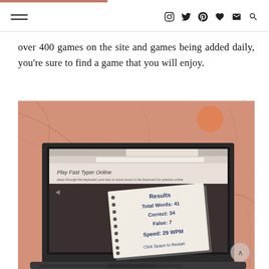Navigation header with hamburger menu and social icons
over 400 games on the site and games being added daily, you're sure to find a game that you will enjoy.
[Figure (photo): A laptop screen displaying a 'Play Fast Typer Online' game results screen showing: Results, Total Words: 41, Correct: 34, False: 7, Speed: 29 WPM, Click Space to Restart. The laptop is on a pink marble surface.]